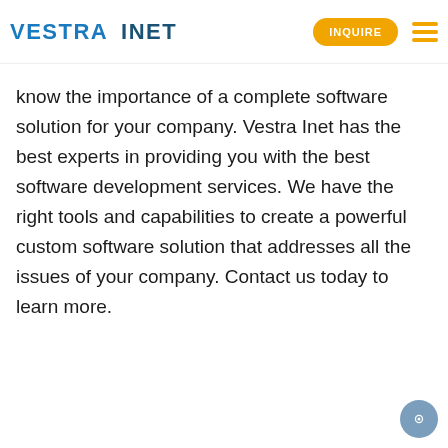VESTRA INET | INQUIRE
know the importance of a complete software solution for your company. Vestra Inet has the best experts in providing you with the best software development services. We have the right tools and capabilities to create a powerful custom software solution that addresses all the issues of your company. Contact us today to learn more.